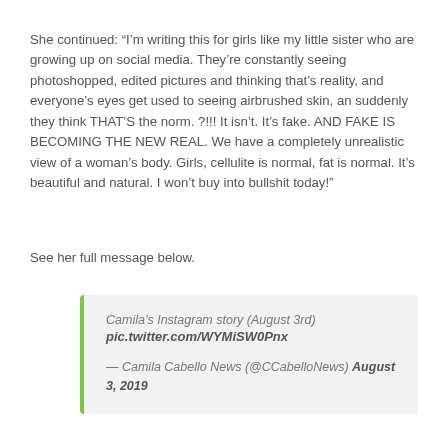She continued: “I’m writing this for girls like my little sister who are growing up on social media. They’re constantly seeing photoshopped, edited pictures and thinking that’s reality, and everyone’s eyes get used to seeing airbrushed skin, an suddenly they think THAT’S the norm. ?!!! It isn’t. It’s fake. AND FAKE IS BECOMING THE NEW REAL. We have a completely unrealistic view of a woman’s body. Girls, cellulite is normal, fat is normal. It’s beautiful and natural. I won’t buy into bullshit today!”
See her full message below.
Camila’s Instagram story (August 3rd)
pic.twitter.com/WYMiSW0Pnx
— Camila Cabello News (@CCabelloNews) August 3, 2019